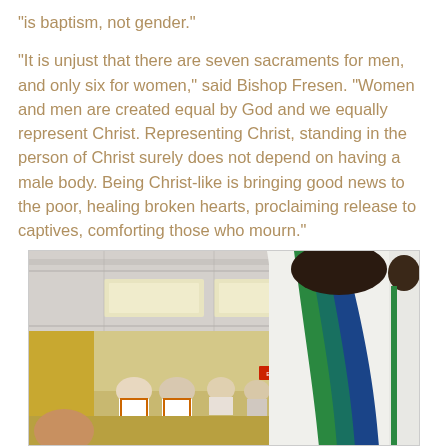“is baptism, not gender.”

“It is unjust that there are seven sacraments for men, and only six for women,” said Bishop Fresen. “Women and men are created equal by God and we equally represent Christ. Representing Christ, standing in the person of Christ surely does not depend on having a male body. Being Christ-like is bringing good news to the poor, healing broken hearts, proclaiming release to captives, comforting those who mourn.”
[Figure (photo): A woman in white robes with a green and blue stole stands with her back to the camera, facing a group of seated people in white robes in a meeting room with a suspended ceiling.]